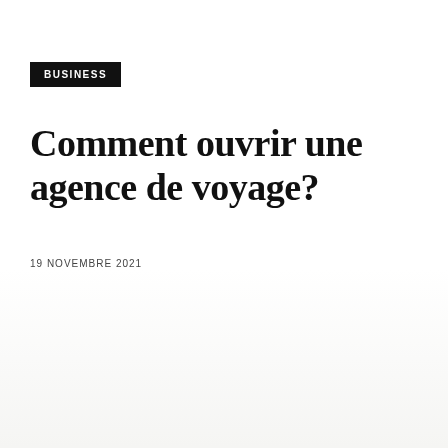BUSINESS
Comment ouvrir une agence de voyage?
19 NOVEMBRE 2021